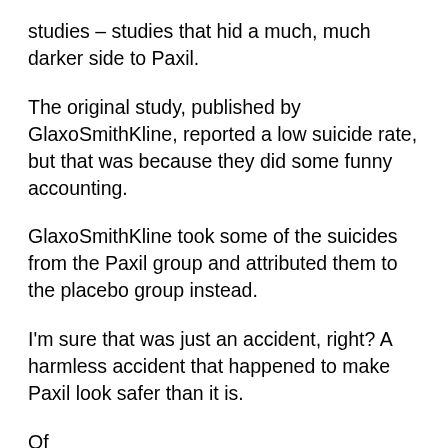studies – studies that hid a much, much darker side to Paxil.
The original study, published by GlaxoSmithKline, reported a low suicide rate, but that was because they did some funny accounting.
GlaxoSmithKline took some of the suicides from the Paxil group and attributed them to the placebo group instead.
I'm sure that was just an accident, right? A harmless accident that happened to make Paxil look safer than it is.
Of…